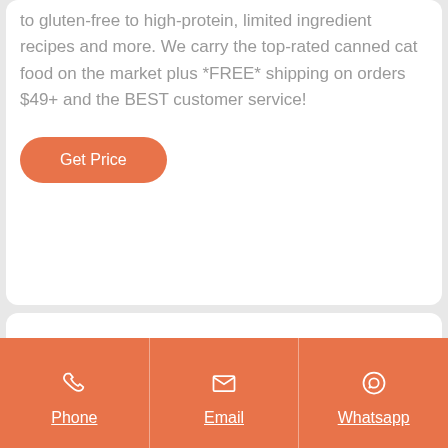to gluten-free to high-protein, limited ingredient recipes and more. We carry the top-rated canned cat food on the market plus *FREE* shipping on orders $49+ and the BEST customer service!
Get Price
What wet food brand do
Phone
Email
Whatsapp